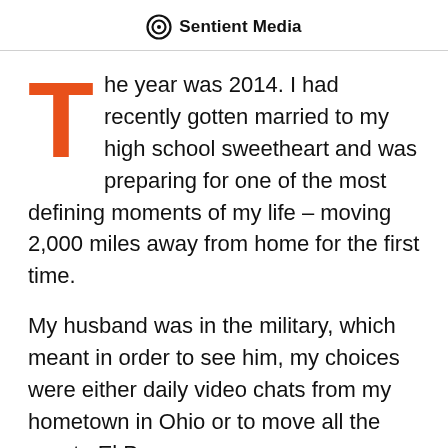Sentient Media
The year was 2014. I had recently gotten married to my high school sweetheart and was preparing for one of the most defining moments of my life – moving 2,000 miles away from home for the first time.
My husband was in the military, which meant in order to see him, my choices were either daily video chats from my hometown in Ohio or to move all the way to El Paso